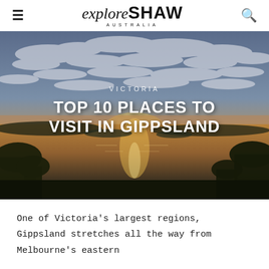explore SHAW AUSTRALIA
[Figure (photo): Aerial sunset landscape over Gippsland Lakes with clouds, water reflections, and surrounding bushland]
VICTORIA
TOP 10 PLACES TO VISIT IN GIPPSLAND
One of Victoria's largest regions, Gippsland stretches all the way from Melbourne's eastern